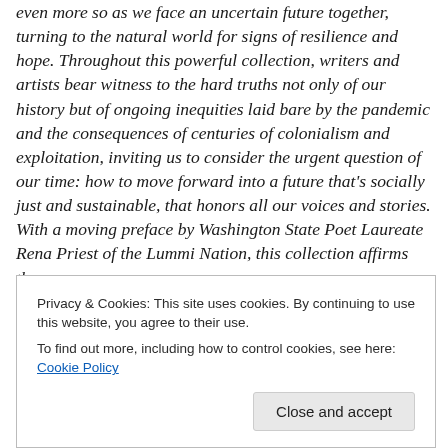even more so as we face an uncertain future together, turning to the natural world for signs of resilience and hope. Throughout this powerful collection, writers and artists bear witness to the hard truths not only of our history but of ongoing inequities laid bare by the pandemic and the consequences of centuries of colonialism and exploitation, inviting us to consider the urgent question of our time: how to move forward into a future that's socially just and sustainable, that honors all our voices and stories. With a moving preface by Washington State Poet Laureate Rena Priest of the Lummi Nation, this collection affirms the
Privacy & Cookies: This site uses cookies. By continuing to use this website, you agree to their use.
To find out more, including how to control cookies, see here: Cookie Policy